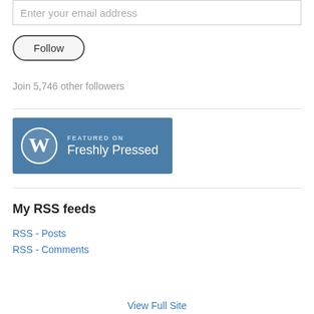Enter your email address
Follow
Join 5,746 other followers
[Figure (logo): WordPress Freshly Pressed badge — blue rectangle with WordPress logo and text 'FEATURED ON Freshly Pressed']
My RSS feeds
RSS - Posts
RSS - Comments
View Full Site